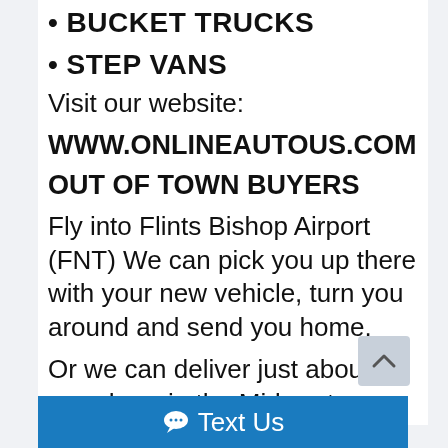• BUCKET TRUCKS
• STEP VANS
Visit our website:
WWW.ONLINEAUTOUS.COM
OUT OF TOWN BUYERS
Fly into Flints Bishop Airport (FNT) We can pick you up there with your new vehicle, turn you around and send you home.
Or we can deliver just about anywhere in the Midwest.